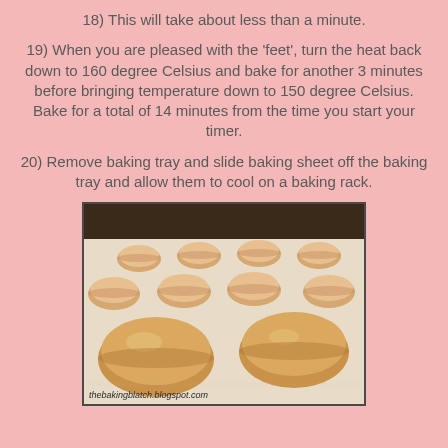18) This will take about less than a minute.
19) When you are pleased with the 'feet', turn the heat back down to 160 degree Celsius and bake for another 3 minutes before bringing temperature down to 150 degree Celsius. Bake for a total of 14 minutes from the time you start your timer.
20) Remove baking tray and slide baking sheet off the baking tray and allow them to cool on a baking rack.
[Figure (photo): Macarons on parchment paper on a baking sheet, showing golden-beige rounds with characteristic feet, viewed from a low angle. Watermark: thebakingblatch.blogspot.com]